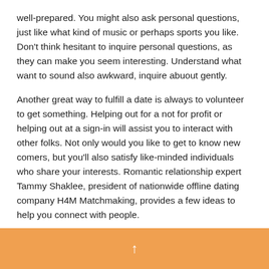well-prepared. You might also ask personal questions, just like what kind of music or perhaps sports you like. Don't think hesitant to inquire personal questions, as they can make you seem interesting. Understand what want to sound also awkward, inquire abuout gently.
Another great way to fulfill a date is always to volunteer to get something. Helping out for a not for profit or helping out at a sign-in will assist you to interact with other folks. Not only would you like to get to know new comers, but you'll also satisfy like-minded individuals who share your interests. Romantic relationship expert Tammy Shaklee, president of nationwide offline dating company H4M Matchmaking, provides a few ideas to help you connect with people.
Earliest dates invariably is an important step up the development of a loving relationship. For some, they serve as
↑